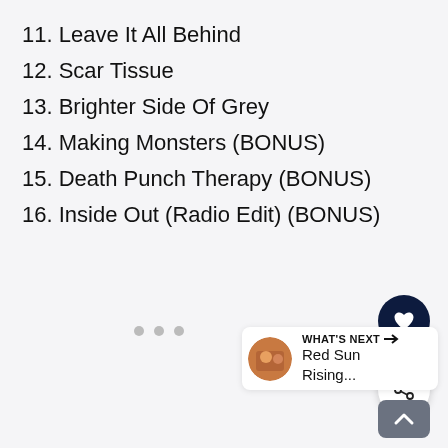11. Leave It All Behind
12. Scar Tissue
13. Brighter Side Of Grey
14. Making Monsters (BONUS)
15. Death Punch Therapy (BONUS)
16. Inside Out (Radio Edit) (BONUS)
[Figure (other): Heart favorite button (dark navy circle with heart icon)]
[Figure (other): Share button (white circle with share icon)]
[Figure (other): Three navigation dots]
[Figure (other): What's Next card showing Red Sun Rising... with thumbnail and arrow]
[Figure (other): Scroll up button (grey rounded rectangle with upward chevron)]